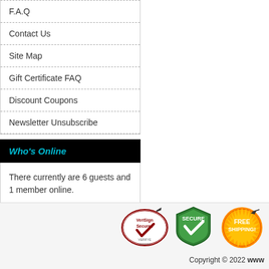F.A.Q
Contact Us
Site Map
Gift Certificate FAQ
Discount Coupons
Newsletter Unsubscribe
Who's Online
There currently are 6 guests and 1 member online.
[Figure (logo): VeriSign Secured badge, Secure shield badge, Free Shipping badge, Satisfaction guarantee badge]
Copyright © 2022 www